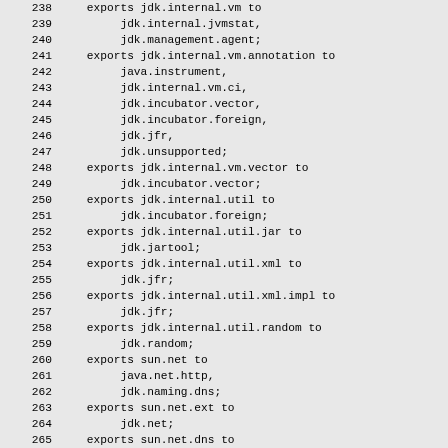Code listing showing Java module exports, lines 238-267+
238     exports jdk.internal.vm to
239          jdk.internal.jvmstat,
240          jdk.management.agent;
241     exports jdk.internal.vm.annotation to
242          java.instrument,
243          jdk.internal.vm.ci,
244          jdk.incubator.vector,
245          jdk.incubator.foreign,
246          jdk.jfr,
247          jdk.unsupported;
248     exports jdk.internal.vm.vector to
249          jdk.incubator.vector;
250     exports jdk.internal.util to
251          jdk.incubator.foreign;
252     exports jdk.internal.util.jar to
253          jdk.jartool;
254     exports jdk.internal.util.xml to
255          jdk.jfr;
256     exports jdk.internal.util.xml.impl to
257          jdk.jfr;
258     exports jdk.internal.util.random to
259          jdk.random;
260     exports sun.net to
261          java.net.http,
262          jdk.naming.dns;
263     exports sun.net.ext to
264          jdk.net;
265     exports sun.net.dns to
266          java.security.jgss,
267          jdk.naming.dns;
268     exports sun.net.util...